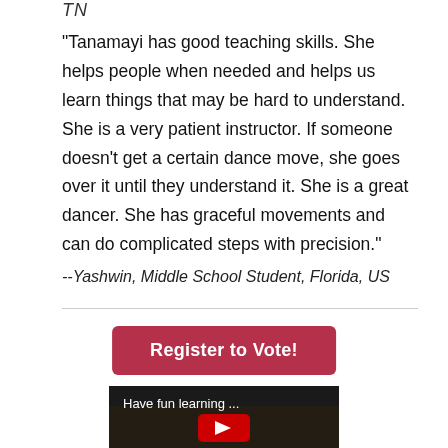TN
"Tanamayi has good teaching skills. She helps people when needed and helps us learn things that may be hard to understand. She is a very patient instructor. If someone doesn't get a certain dance move, she goes over it until they understand it. She is a great dancer. She has graceful movements and can do complicated steps with precision."
--Yashwin, Middle School Student, Florida, US
Register to Vote!
[Figure (screenshot): Video thumbnail with text 'Have fun learning ...' and a YouTube-style red play button]